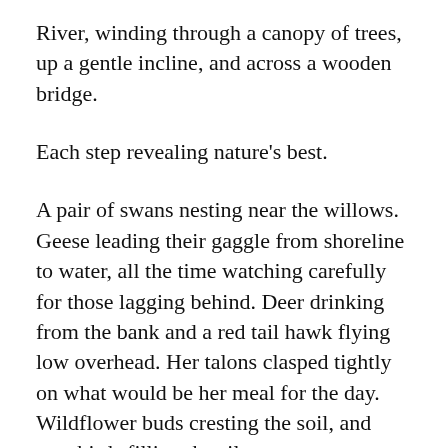River, winding through a canopy of trees, up a gentle incline, and across a wooden bridge.
Each step revealing nature's best.
A pair of swans nesting near the willows. Geese leading their gaggle from shoreline to water, all the time watching carefully for those lagging behind. Deer drinking from the bank and a red tail hawk flying low overhead. Her talons clasped tightly on what would be her meal for the day. Wildflower buds cresting the soil, and songbirds filling the silence.
God's creation showing off her beauty.